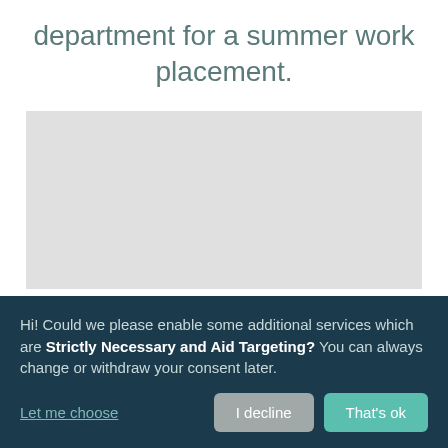department for a summer work placement.
[Figure (other): Grey placeholder rectangle representing an embedded image or video content area]
Hi! Could we please enable some additional services which are Strictly Necessary and Aid Targeting? You can always change or withdraw your consent later.
Let me choose
I decline
That's ok